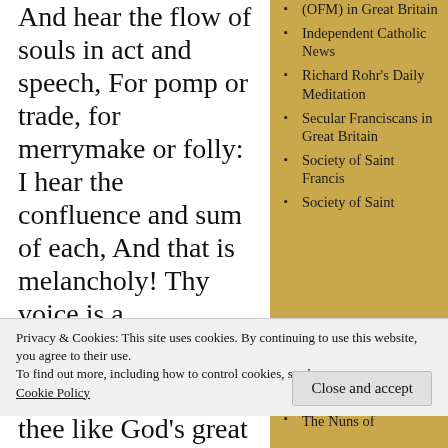And hear the flow of souls in act and speech, For pomp or trade, for merrymake or folly: I hear the confluence and sum of each, And that is melancholy! Thy voice is a
(OFM) in Great Britain
Independent Catholic News
Richard Rohr's Daily Meditation
Secular Franciscans in Great Britain
Society of Saint Francis
Society of Saint
Privacy & Cookies: This site uses cookies. By continuing to use this website, you agree to their use.
To find out more, including how to control cookies, see here: Cookie Policy
Close and accept
thee like God's great
The Nuns of